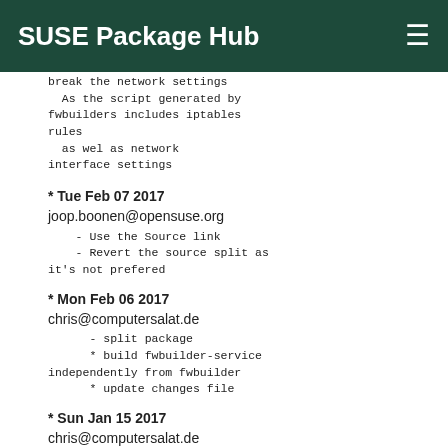SUSE Package Hub
break the network settings
  As the script generated by fwbuilders includes iptables rules
  as wel as network interface settings
* Tue Feb 07 2017
joop.boonen@opensuse.org
- Use the Source link
    - Revert the source split as it's not prefered
* Mon Feb 06 2017
chris@computersalat.de
- split package
      * build fwbuilder-service independently from fwbuilder
      * update changes file
* Sun Jan 15 2017
chris@computersalat.de
- Update to 5.3.7
      * iptables:
    - Feature: fwbuilder now supports conntrack instead of state module for recent iptables
    - Feature: Add support for the iptables > 1.4.20 "-W" option